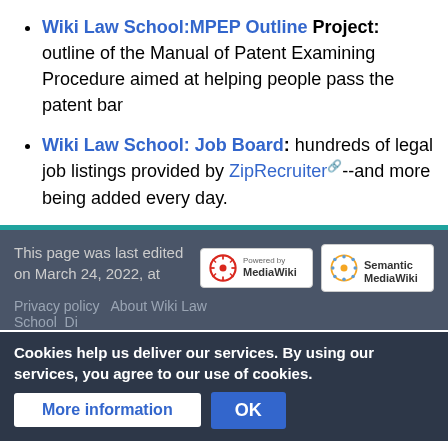Wiki Law School:MPEP Outline Project: outline of the Manual of Patent Examining Procedure aimed at helping people pass the patent bar
Wiki Law School: Job Board: hundreds of legal job listings provided by ZipRecruiter--and more being added every day.
This page was last edited on March 24, 2022, at
Cookies help us deliver our services. By using our services, you agree to our use of cookies.
Privacy policy   About Wiki Law School   Disclaimers
More information   OK